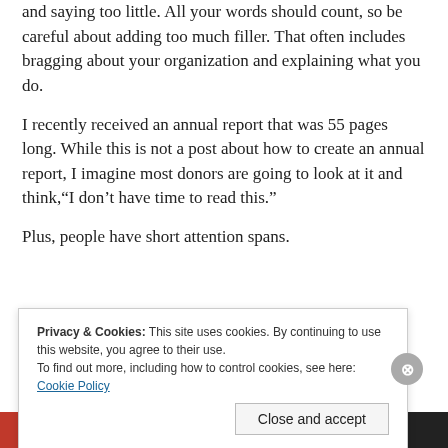and saying too little. All your words should count, so be careful about adding too much filler. That often includes bragging about your organization and explaining what you do.
I recently received an annual report that was 55 pages long. While this is not a post about how to create an annual report, I imagine most donors are going to look at it and think,“I don’t have time to read this.”
Plus, people have short attention spans.
Privacy & Cookies: This site uses cookies. By continuing to use this website, you agree to their use.
To find out more, including how to control cookies, see here: Cookie Policy